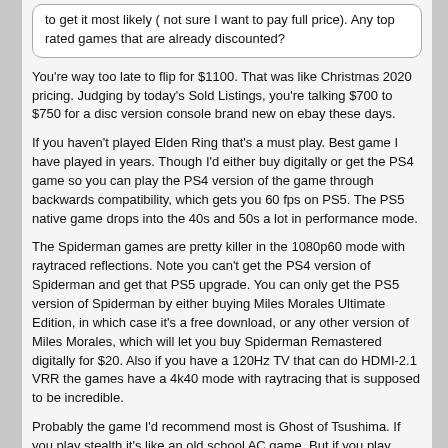to get it most likely ( not sure I want to pay full price). Any top rated games that are already discounted?
You're way too late to flip for $1100. That was like Christmas 2020 pricing. Judging by today's Sold Listings, you're talking $700 to $750 for a disc version console brand new on ebay these days.
If you haven't played Elden Ring that's a must play. Best game I have played in years. Though I'd either buy digitally or get the PS4 game so you can play the PS4 version of the game through backwards compatibility, which gets you 60 fps on PS5. The PS5 native game drops into the 40s and 50s a lot in performance mode.
The Spiderman games are pretty killer in the 1080p60 mode with raytraced reflections. Note you can't get the PS4 version of Spiderman and get that PS5 upgrade. You can only get the PS5 version of Spiderman by either buying Miles Morales Ultimate Edition, in which case it's a free download, or any other version of Miles Morales, which will let you buy Spiderman Remastered digitally for $20. Also if you have a 120Hz TV that can do HDMI-2.1 VRR the games have a 4k40 mode with raytracing that is supposed to be incredible.
Probably the game I'd recommend most is Ghost of Tsushima. If you play stealth it's like an old school AC game. But if you play samurai style instead of ninja style the sword combat is pretty awesome. Great exploration in the game too. Pretty rock solid 1800p60 in the entire game.